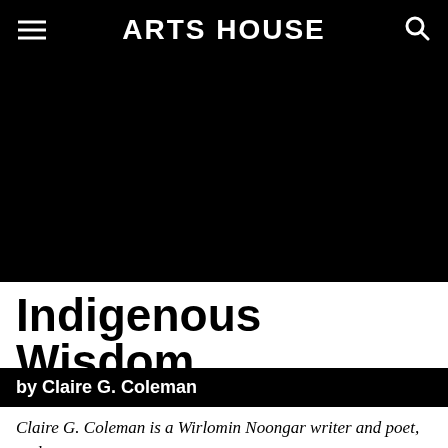ARTS HOUSE
[Figure (photo): Dark/black hero image background for the article]
Indigenous Wisdom
by Claire G. Coleman
Claire G. Coleman is a Wirlomin Noongar writer and poet, and a